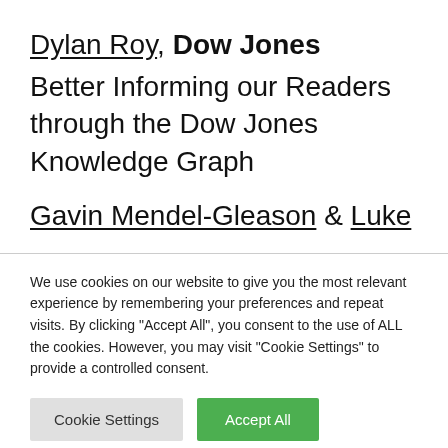Dylan Roy, Dow Jones
Better Informing our Readers through the Dow Jones Knowledge Graph
Gavin Mendel-Gleason & Luke
We use cookies on our website to give you the most relevant experience by remembering your preferences and repeat visits. By clicking "Accept All", you consent to the use of ALL the cookies. However, you may visit "Cookie Settings" to provide a controlled consent.